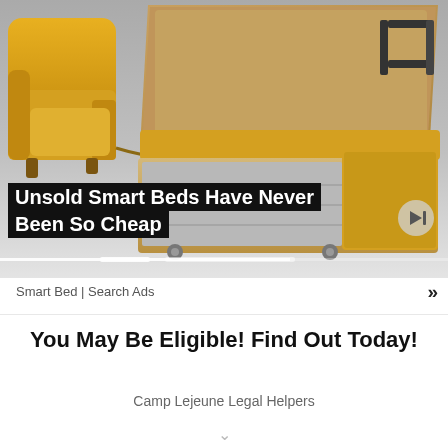[Figure (photo): Yellow/mustard storage sofa/bed with lid lifted open, showing wooden drawer interior with metal hinges and brackets. The furniture appears to be a convertible sofa bed with storage compartment.]
Unsold Smart Beds Have Never Been So Cheap
Smart Bed | Search Ads
You May Be Eligible! Find Out Today!
Camp Lejeune Legal Helpers